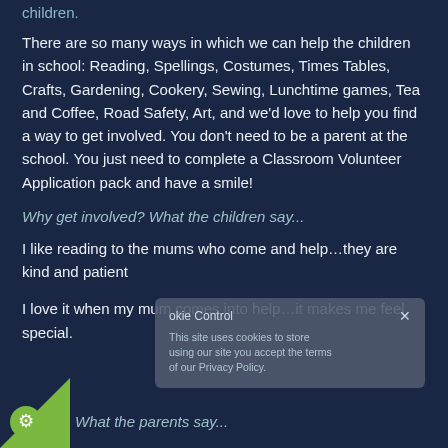children.
There are so many ways in which we can help the children in school: Reading, Spellings, Costumes, Times Tables, Crafts, Gardening, Cookery, Sewing, Lunchtime games, Tea and Coffee, Road Safety, Art, and we'd love to help you find a way to get involved. You don't need to be a parent at the school. You just need to complete a Classroom Volunteer Application pack and have a smile!
Why get involved? What the children say...
I like reading to the mums who come and help…they are kind and patient
I love it when my mum comes into help…it makes me feel special.
What the parents say...